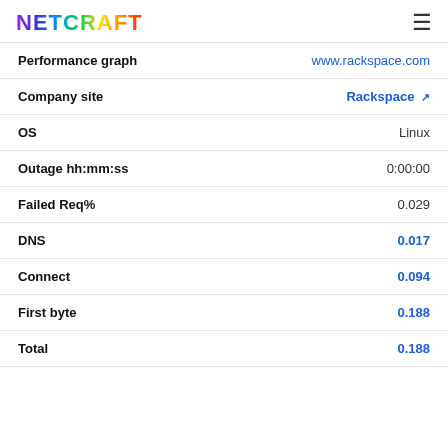Netcraft
| Field | Value |
| --- | --- |
| Performance graph | www.rackspace.com |
| Company site | Rackspace |
| OS | Linux |
| Outage hh:mm:ss | 0:00:00 |
| Failed Req% | 0.029 |
| DNS | 0.017 |
| Connect | 0.094 |
| First byte | 0.188 |
| Total | 0.188 |